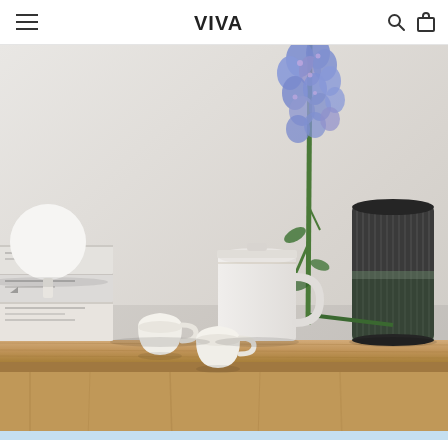VIVA (logo with hamburger menu, search icon, and bag icon)
[Figure (photo): Minimalist lifestyle product photo showing white ceramic mugs and cups on a wooden shelf, with a dark ribbed glass vase holding blue delphinium flowers, a white globe lamp, and stacked books. Light grey background. Bottom light blue bar.]